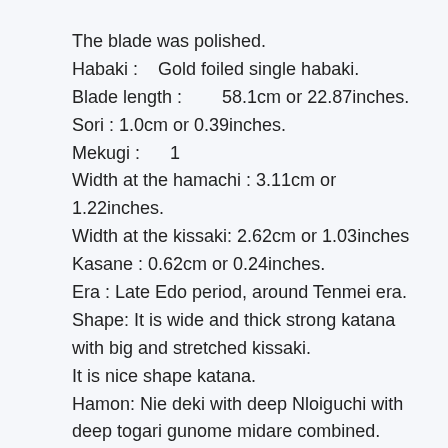The blade was polished.
Habaki :    Gold foiled single habaki.
Blade length :        58.1cm or 22.87inches.
Sori : 1.0cm or 0.39inches.
Mekugi :      1
Width at the hamachi : 3.11cm or 1.22inches.
Width at the kissaki: 2.62cm or 1.03inches
Kasane : 0.62cm or 0.24inches.
Era : Late Edo period, around Tenmei era.
Shape: It is wide and thick strong katana with big and stretched kissaki.
It is nice shape katana.
Hamon: Nie deki with deep Nloiguchi with deep togari gunome midare combined.
There is active sunagashi and kinsuji work.